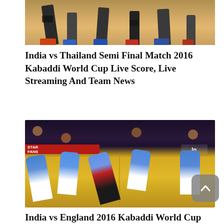[Figure (photo): Top portion of a kabaddi match photo showing players' legs and feet on a yellow court floor]
India vs Thailand Semi Final Match 2016 Kabaddi World Cup Live Score, Live Streaming And Team News
[Figure (photo): Kabaddi match photo showing players in blue and red jerseys competing on a yellow court with crowd in background]
India vs England 2016 Kabaddi World Cup Match Preview, Live Score, Live Streaming And Team Team